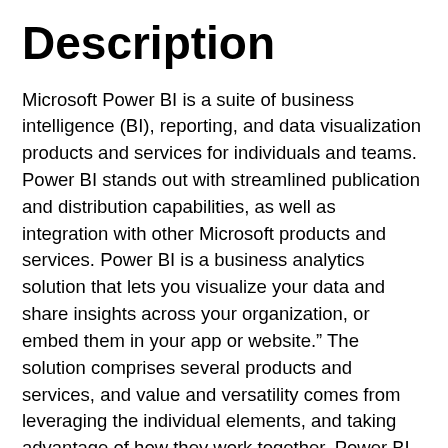Description
Microsoft Power BI is a suite of business intelligence (BI), reporting, and data visualization products and services for individuals and teams. Power BI stands out with streamlined publication and distribution capabilities, as well as integration with other Microsoft products and services. Power BI is a business analytics solution that lets you visualize your data and share insights across your organization, or embed them in your app or website." The solution comprises several products and services, and value and versatility comes from leveraging the individual elements, and taking advantage of how they work together. Power BI administration is the management of the organization-wide settings that control how Power BI works. Users that are assigned to admin roles configure, monitor, and provision organizational resources. This article provides